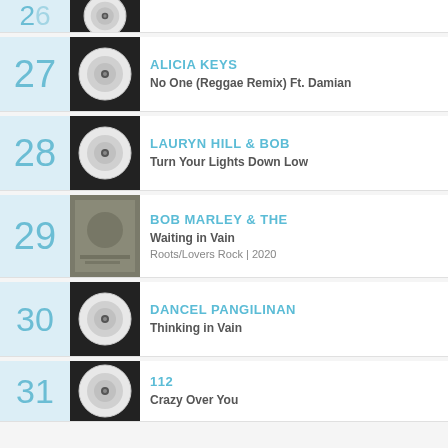26 - partial entry (truncated top)
27 - ALICIA KEYS - No One (Reggae Remix) Ft. Damian
28 - LAURYN HILL & BOB - Turn Your Lights Down Low
29 - BOB MARLEY & THE - Waiting in Vain - Roots/Lovers Rock | 2020
30 - DANCEL PANGILINAN - Thinking in Vain
31 - 112 - Crazy Over You